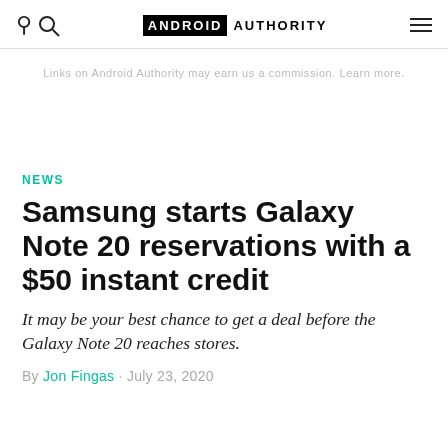ANDROID AUTHORITY
Links on Android Authority may earn us a commission. Learn more.
NEWS
Samsung starts Galaxy Note 20 reservations with a $50 instant credit
It may be your best chance to get a deal before the Galaxy Note 20 reaches stores.
By Jon Fingas · July 23, 2020